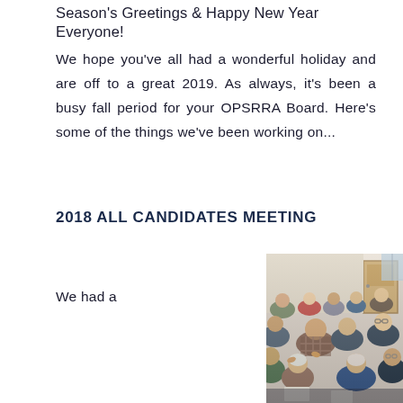Season's Greetings & Happy New Year Everyone!
We hope you've all had a wonderful holiday and are off to a great 2019. As always, it's been a busy fall period for your OPSRRA Board. Here's some of the things we've been working on...
2018 ALL CANDIDATES MEETING
We had a
[Figure (photo): Crowd of people seated in a meeting room, applauding, viewed from the side. A wooden door is visible in the background.]